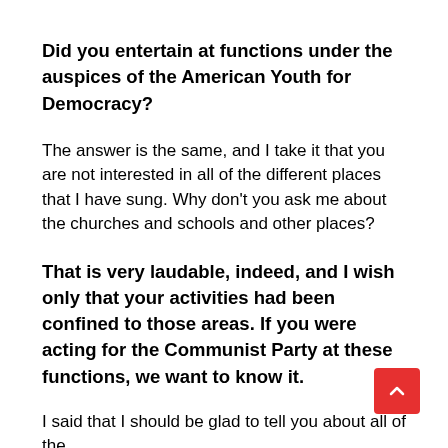Did you entertain at functions under the auspices of the American Youth for Democracy?
The answer is the same, and I take it that you are not interested in all of the different places that I have sung. Why don't you ask me about the churches and schools and other places?
That is very laudable, indeed, and I wish only that your activities had been confined to those areas. If you were acting for the Communist Party at these functions, we want to know it.
I said that I should be glad to tell you about all of the